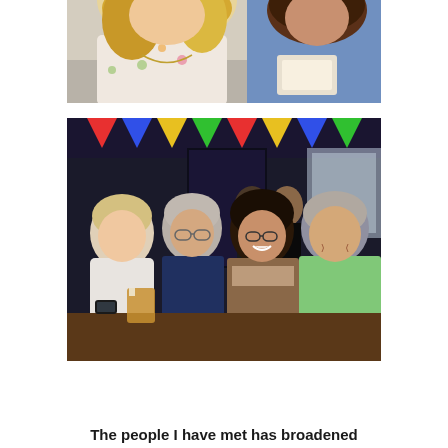[Figure (photo): Top portion of a photo showing two women, one with blonde hair in a floral top and another with brown hair in a blue top, photographed from above outdoors.]
[Figure (photo): Group photo of four people sitting at a pub table: a blonde woman in white, an older man with glasses in a navy shirt, a smiling woman with dark hair and glasses wearing a scarf, and an older man in a green polo shirt. Colorful bunting decorates the ceiling.]
The people I have met has broadened